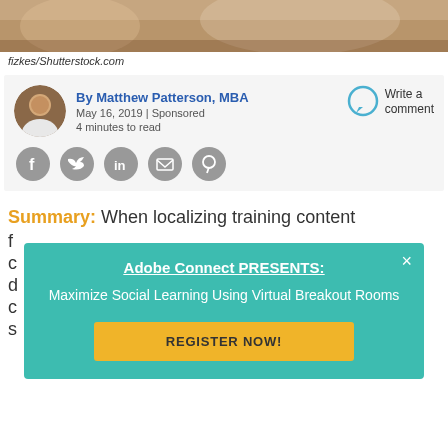[Figure (photo): Cropped photo of people working at a laptop, partially visible at top of page]
fizkes/Shutterstock.com
By Matthew Patterson, MBA
May 16, 2019 | Sponsored
4 minutes to read
[Figure (illustration): Speech bubble icon for Write a comment]
Write a comment
[Figure (illustration): Social sharing icons: Facebook, Twitter, LinkedIn, Email, Pinterest]
Summary: When localizing training content f...
[Figure (infographic): Adobe Connect popup overlay on teal background. Title: Adobe Connect PRESENTS: Maximize Social Learning Using Virtual Breakout Rooms. Button: REGISTER NOW!]